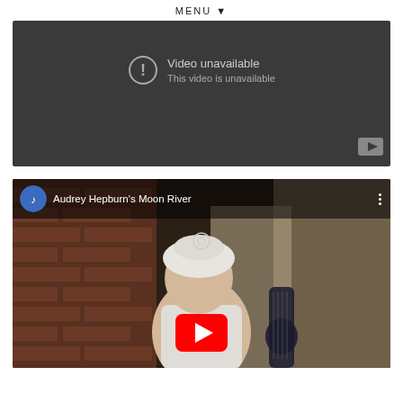MENU ▼
[Figure (screenshot): Embedded video player showing 'Video unavailable - This video is unavailable' message on a dark grey background with YouTube logo in bottom right corner.]
[Figure (screenshot): YouTube video embed showing 'Audrey Hepburn's Moon River' with channel avatar, three-dot menu, camera/record circle overlay, background scene of a person with head wrap holding a guitar, and a large red YouTube play button.]